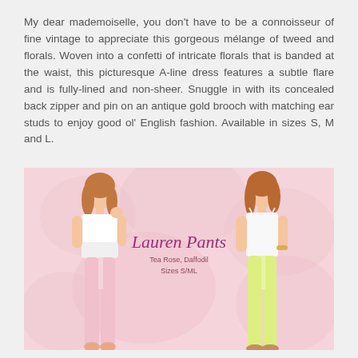My dear mademoiselle, you don't have to be a connoisseur of fine vintage to appreciate this gorgeous mélange of tweed and florals. Woven into a confetti of intricate florals that is banded at the waist, this picturesque A-line dress features a subtle flare and is fully-lined and non-sheer. Snuggle in with its concealed back zipper and pin on an antique gold brooch with matching ear studs to enjoy good ol' English fashion. Available in sizes S, M and L.
[Figure (photo): Two female models posing against a soft pink floral background. Left model wears a white sleeveless top and light pink pants. Right model wears a white spaghetti-strap top and yellow-green pants. Center overlay text reads 'Lauren Pants' in cursive script with 'Tea Rose, Daffodil / Sizes S/M/L' beneath.]